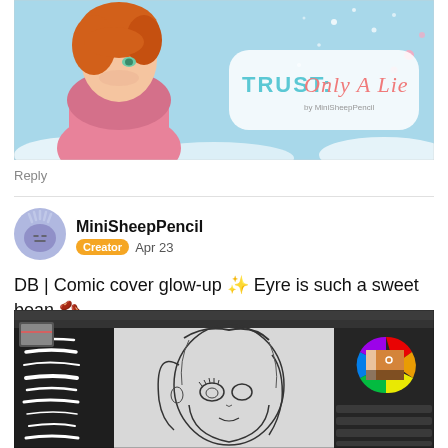[Figure (illustration): Manga-style banner for 'TRUST: Only A Lie' by MiniSheepPencil. Light blue background with a boy with orange hair wearing a pink hoodie on the left, and the title text on the right with decorative sparkles and snowflakes.]
Reply
[Figure (photo): Avatar icon of MiniSheepPencil — a round cartoon character with a purple face.]
MiniSheepPencil
Creator  Apr 23
DB | Comic cover glow-up ✨ Eyre is such a sweet bean 🫘
[Figure (screenshot): Screenshot of a digital art software (Clip Studio Paint or similar) showing a manga-style line art drawing of a girl with long hair and large eyes, with brush tool palette on the left and color wheel on the right.]